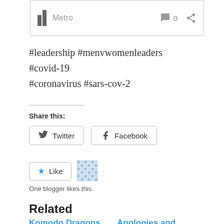[Figure (screenshot): Metro branded card with logo, comment count 0, and share icon]
#leadership #menvwomenleaders #covid-19 #coronavirus #sars-cov-2
Share this:
[Figure (other): Twitter share button]
[Figure (other): Facebook share button]
[Figure (other): Like button with star icon and avatar grid]
One blogger likes this.
Related
Komodo Dragons and
Apologies and thank